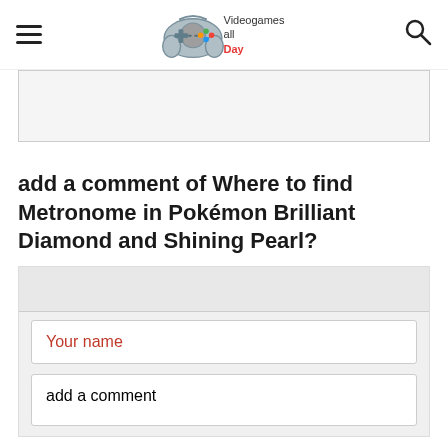Videogames all Day - website header with hamburger menu, logo, and search icon
[Figure (other): Advertisement or content placeholder box]
add a comment of Where to find Metronome in Pokémon Brilliant Diamond and Shining Pearl?
[Figure (other): Comment form area with Your name input field and add a comment textarea]